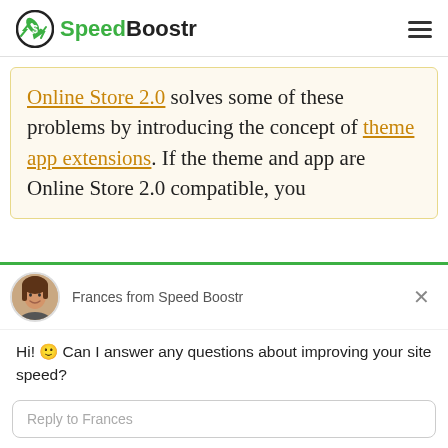SpeedBoostr
Online Store 2.0 solves some of these problems by introducing the concept of theme app extensions. If the theme and app are Online Store 2.0 compatible, you
Frances from Speed Boostr
Hi! 🙂 Can I answer any questions about improving your site speed?
Reply to Frances